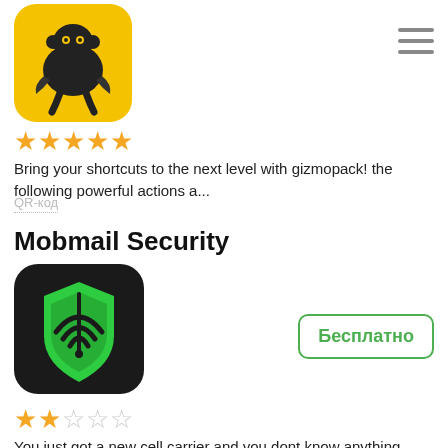[Figure (illustration): Gizmopack app icon - yellow rounded square with dark monkey wrench/gear icon]
[Figure (illustration): Hamburger menu icon (three horizontal lines) in top right corner]
★★★★★
Bring your shortcuts to the next level with gizmopack! the following powerful actions a...
QR-код
Mobmail Security
[Figure (illustration): Mobmail Security app icon - dark/black rounded square with green shield and wifi/signal icon]
Бесплатно
★★☆☆☆
You just got a new cell carrier and you dont know anything about it celeritate is here ...